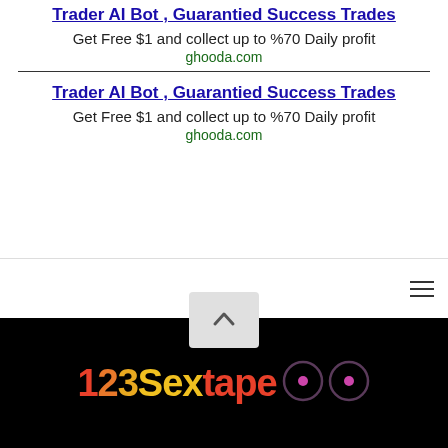Trader AI Bot , Guarantied Success Trades
Get Free $1 and collect up to %70 Daily profit
ghooda.com
Trader AI Bot , Guarantied Success Trades
Get Free $1 and collect up to %70 Daily profit
ghooda.com
[Figure (screenshot): Website navigation bar with hamburger menu icon on the right, and a scroll-to-top button (chevron up arrow) centered below]
[Figure (logo): 123Sextape logo in orange-red to yellow gradient text on black background, with stylized infinity/eyes symbol]